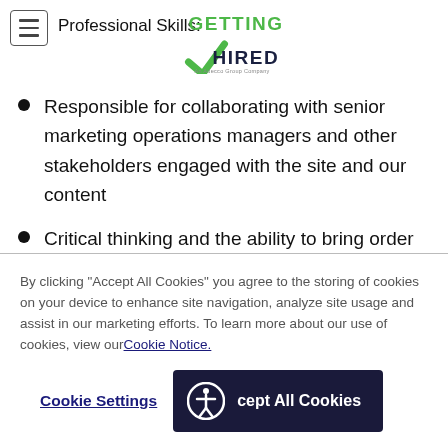Professional Skills:
[Figure (logo): Getting Hired logo - An Adecco Group Company, green and dark navy text with checkmark]
Responsible for collaborating with senior marketing operations managers and other stakeholders engaged with the site and our content
Critical thinking and the ability to bring order to unstructured problems
Use straightforward communication, when
By clicking “Accept All Cookies” you agree to the storing of cookies on your device to enhance site navigation, analyze site usage and assist in our marketing efforts. To learn more about our use of cookies, view our Cookie Notice.
Cookie Settings | Accept All Cookies